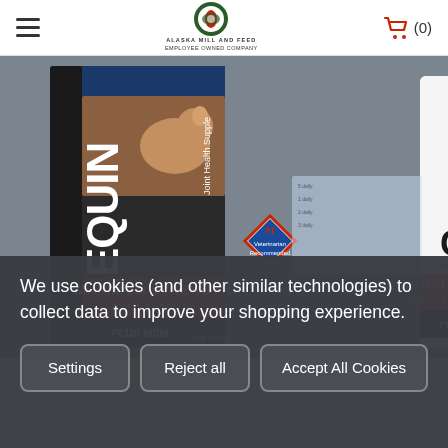Alaska Mill and Feed — Employee Owned Company | Cart (0)
[Figure (photo): Product photo showing two Cosequin Maximum Strength Joint Support Plus MSM for Dogs packages — a box and a bottle — with a golden labrador dog on the packaging, and a #1 Veterinarian Recommended Brand diamond badge. The products are set against a warm brown background.]
We use cookies (and other similar technologies) to collect data to improve your shopping experience.
Settings | Reject all | Accept All Cookies